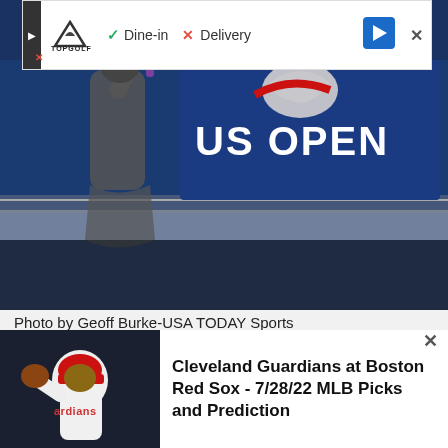[Figure (screenshot): Ad banner with Topgolf logo, Dine-in checkmark, Delivery X, navigation arrow, and close button]
[Figure (photo): Female tennis player at US Open holding racket up, US Open logo visible in background on blue court]
Photo by Geoff Burke-USA TODAY Sports
Home > TENNIS Picks
[Figure (photo): Baseball pitcher from Cleveland Guardians in white uniform, bottom promo card]
Cleveland Guardians at Boston Red Sox - 7/28/22 MLB Picks and Prediction